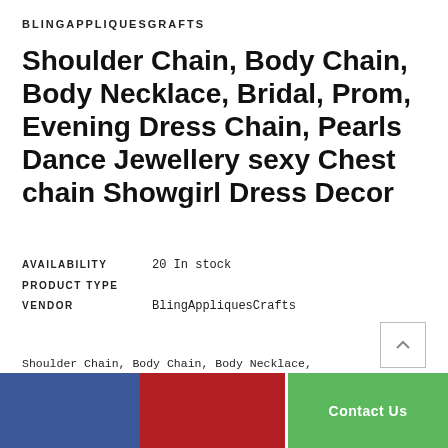BLINGAPPLIQUESGRAFTS
Shoulder Chain, Body Chain, Body Necklace, Bridal, Prom, Evening Dress Chain, Pearls Dance Jewellery sexy Chest chain Showgirl Dress Decor
AVAILABILITY   20 In stock
PRODUCT TYPE
VENDOR   BlingAppliquesCrafts
Shoulder Chain, Body Chain, Body Necklace, Bridal, Prom, Evening Dress Chain, Pearls Dance Jewellery sexy Chest chain Showgirl Dress DecorAmazing handbeaded to perfection pearl luxurious bodice necklace jewelry. The piece drapes